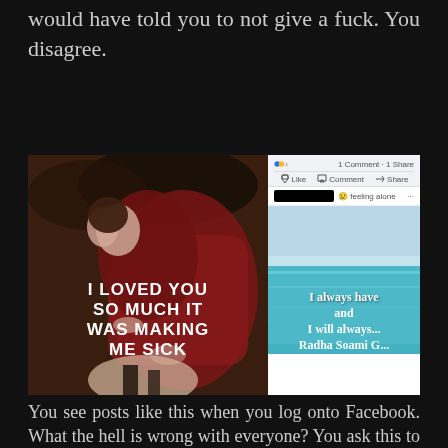would have told you to not give a fuck. You disagree.
[Figure (screenshot): Two side-by-side images. Left: A painting of two figures embracing with overlaid white bold text reading 'I LOVED YOU SO MUCH IT WAS MAKING ME SICK'. Right: A Facebook post screenshot showing reaction counts (12), comment and share buttons, a redacted user profile showing 'feeling alone', and beneath it an ocean image with white text reading 'I always have and I will always... Radha Soami G...']
You see posts like this when you log onto Facebook. What the hell is wrong with everyone? You ask this to yourself and realise you are one looking at this crap. And then you shut your phone. But how can